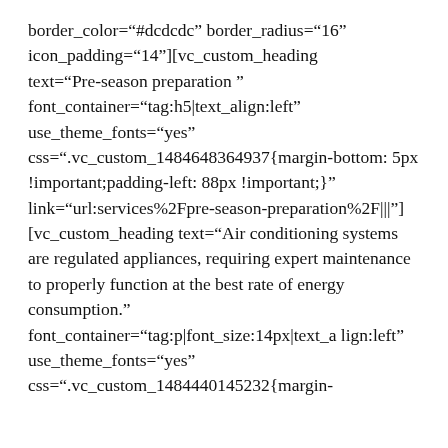border_color="#dcdcdc" border_radius="16" icon_padding="14"][vc_custom_heading text="Pre-season preparation " font_container="tag:h5|text_align:left" use_theme_fonts="yes" css=".vc_custom_1484648364937{margin-bottom: 5px !important;padding-left: 88px !important;}" link="url:services%2Fpre-season-preparation%2F|||"] [vc_custom_heading text="Air conditioning systems are regulated appliances, requiring expert maintenance to properly function at the best rate of energy consumption." font_container="tag:p|font_size:14px|text_align:left" use_theme_fonts="yes" css=".vc_custom_1484440145232{margin-